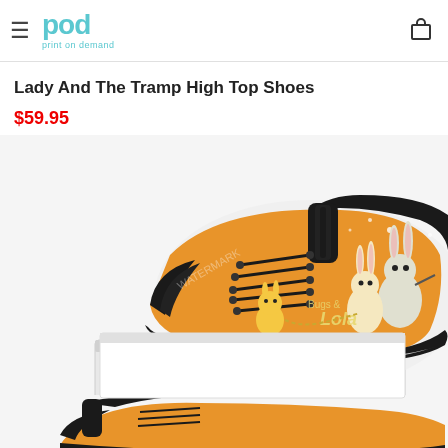pod print on demand
Lady And The Tramp High Top Shoes
$59.95
[Figure (photo): High top sneakers with orange Looney Tunes cartoon character print design featuring Bugs Bunny and Lola Bunny, placed on a white shoebox. A second partial shoe is visible below.]